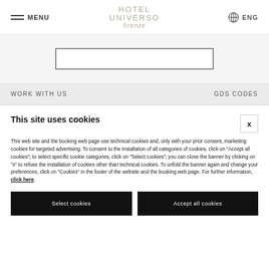MENU | HOTEL UNIVERSO firenze | ENG
[Figure (screenshot): Horizontal booking bar with bordered input area]
WORK WITH US    GDS CODES
This site uses cookies
This web site and the booking web page use technical cookies and, only with your prior consent, marketing cookies for targeted advertising. To consent to the installation of all categories of cookies, click on "Accept all cookies"; to select specific cookie categories, click on "Select cookies"; you can close the banner by clicking on "x" to refuse the installation of cookies other than technical cookies. To unfold the banner again and change your preferences, click on "Cookies" in the footer of the website and the booking web page. For further information, click here.
Select cookies
Accept all cookies